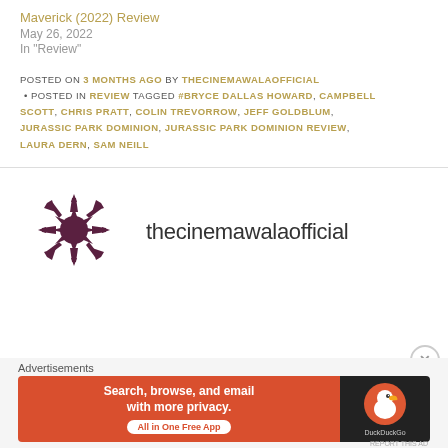Maverick (2022) Review
May 26, 2022
In "Review"
POSTED ON 3 MONTHS AGO BY THECINEMAWALAOFFICIAL • POSTED IN REVIEW TAGGED #BRYCE DALLAS HOWARD, CAMPBELL SCOTT, CHRIS PRATT, COLIN TREVORROW, JEFF GOLDBLUM, JURASSIC PARK DOMINION, JURASSIC PARK DOMINION REVIEW, LAURA DERN, SAM NEILL
[Figure (logo): Starburst/snowflake shaped logo in dark purple/maroon color]
thecinemawalaofficial
Advertisements
[Figure (screenshot): DuckDuckGo advertisement banner: Search, browse, and email with more privacy. All in One Free App]